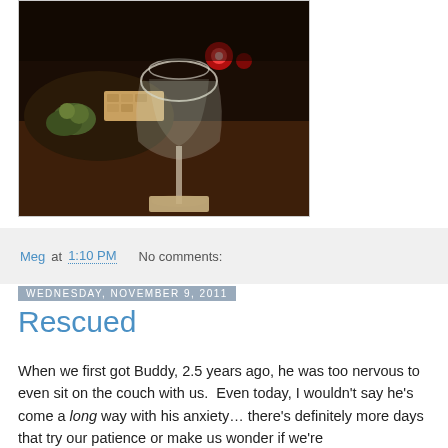[Figure (photo): Dark restaurant/bar scene with a wine glass in foreground on a coaster, fruit and cheese platter in background, red light visible]
Meg at 1:10 PM    No comments:
Wednesday, November 9, 2011
Rescued
When we first got Buddy, 2.5 years ago, he was too nervous to even sit on the couch with us.  Even today, I wouldn't say he's come a long way with his anxiety… there's definitely more days that try our patience or make us wonder if we're